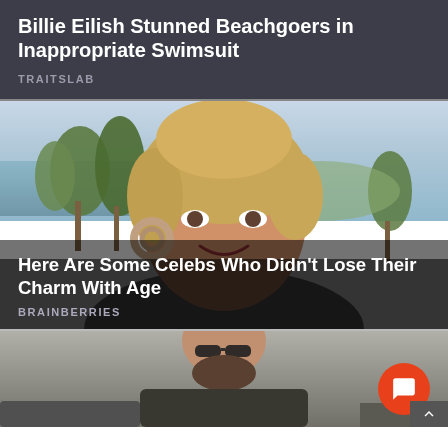Billie Eilish Stunned Beachgoers in Inappropriate Swimsuit
TRAITSLAB
[Figure (photo): Photo of a smiling woman with short blonde hair and large hoop earrings, outdoors with palm trees, ocean and greenery in background]
Here Are Some Celebs Who Didn't Lose Their Charm With Age
BRAINBERRIES
[Figure (photo): Partial photo of a bearded man wearing sunglasses and a dark jacket, outdoors]